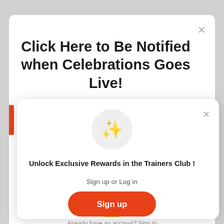Click Here to Be Notified when Celebrations Goes Live!
[Figure (illustration): Sparkle/stars emoji icon inside a light gray circle]
Unlock Exclusive Rewards in the Trainers Club !
Sign up or Log in
Sign up
Already have an account? Sign in